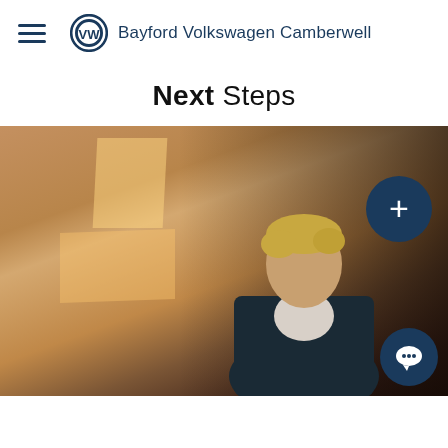Bayford Volkswagen Camberwell
Next Steps
[Figure (photo): Man in dark blazer standing against a warm-toned wall with sunlight casting rectangular shadow patterns, with a dark navy plus button overlay and chat button in corner]